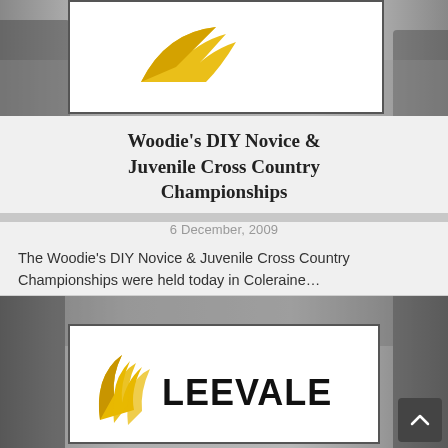[Figure (photo): Blurred photo of runners at a cross country event with a Leevale AC logo displayed in a white bordered box overlay]
Woodie's DIY Novice & Juvenile Cross Country Championships
6 December, 2009
The Woodie's DIY Novice & Juvenile Cross Country Championships were held today in Coleraine...
[Figure (photo): Blurred photo of a crowd of runners/spectators at an athletics event with a Leevale AC logo in a white bordered box overlay]